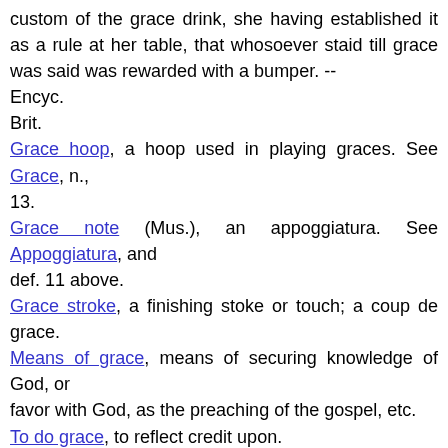custom of the grace drink, she having established it as a rule at her table, that whosoever staid till grace was said was rewarded with a bumper. -- Encyc. Brit. Grace hoop, a hoop used in playing graces. See Grace, n., 13. Grace note (Mus.), an appoggiatura. See Appoggiatura, and def. 11 above. Grace stroke, a finishing stoke or touch; a coup de grace. Means of grace, means of securing knowledge of God, or favor with God, as the preaching of the gospel, etc. To do grace, to reflect credit upon. [1913 Webster] Content to do the profession some grace. --Shak. To say grace, to render thanks before or after a